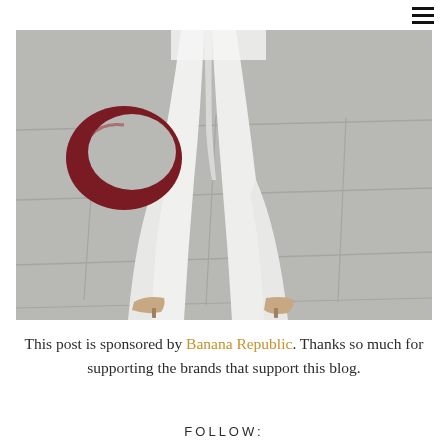≡
[Figure (photo): Street style photo showing lower body of a person wearing white flared jeans and beige pointed-toe heels, carrying a dark red/burgundy crescent moon-shaped handbag, walking on grey stone pavement tiles.]
This post is sponsored by Banana Republic. Thanks so much for supporting the brands that support this blog.
FOLLOW: